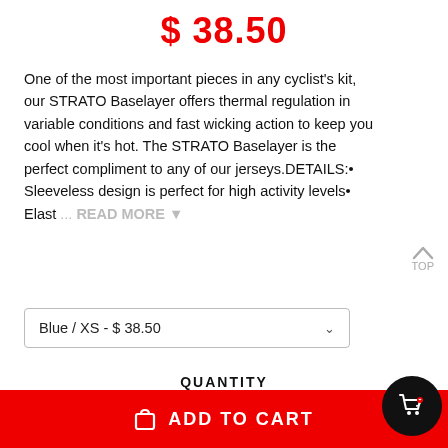$ 38.50
One of the most important pieces in any cyclist's kit, our STRATO Baselayer offers thermal regulation in variable conditions and fast wicking action to keep you cool when it's hot. The STRATO Baselayer is the perfect compliment to any of our jerseys.DETAILS:• Sleeveless design is perfect for high activity levels• Elast ... READ MORE ▼
Blue / XS - $ 38.50
QUANTITY
1
ADD TO CART